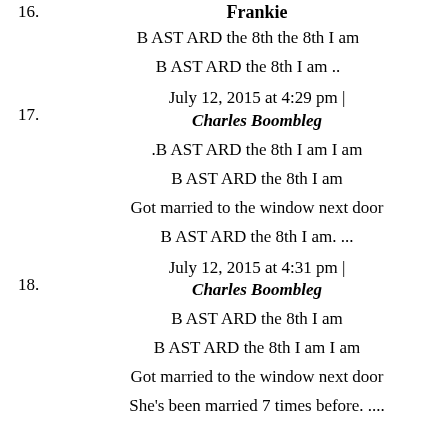Frankie
B AST ARD the 8th the 8th I am
B AST ARD the 8th I am ..
July 12, 2015 at 4:29 pm | Charles Boombleg
.B AST ARD the 8th I am I am
B AST ARD the 8th I am
Got married to the window next door
B AST ARD the 8th I am. ...
July 12, 2015 at 4:31 pm | Charles Boombleg
B AST ARD the 8th I am
B AST ARD the 8th I am I am
Got married to the window next door
She's been married 7 times before. ....